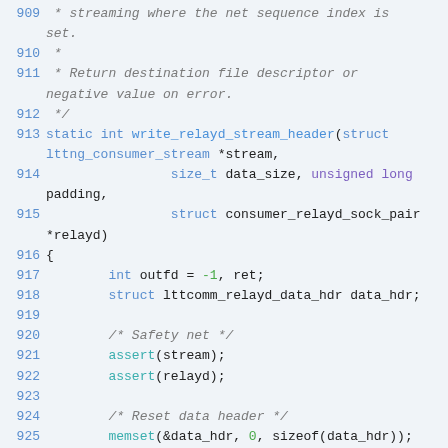Source code listing, lines 909-928, C language, write_relayd_stream_header function definition with comments and variable declarations